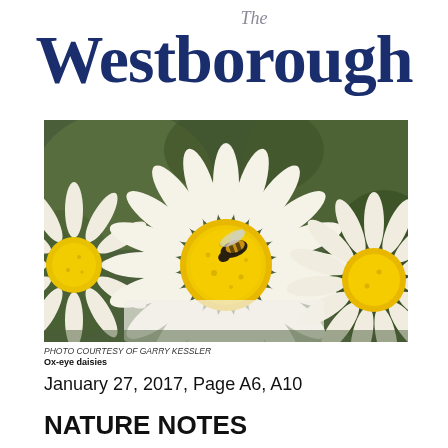The Westborough
[Figure (photo): Close-up photo of ox-eye daisies with white petals and yellow centers, a bee resting on the central daisy's yellow disk.]
PHOTO COURTESY OF GARRY KESSLER
Ox-eye daisies
January 27, 2017, Page A6, A10
NATURE NOTES